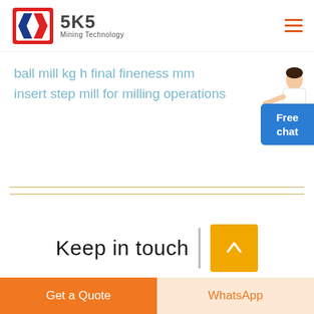[Figure (logo): SKS Mining Technology logo with blue and red angular arrow icon and text 'SKS Mining Technology']
ball mill kg h final fineness mm
insert step mill for milling operations
[Figure (illustration): Customer service person illustration next to Free chat button]
Free chat
Keep in touch
Get a Quote
WhatsApp